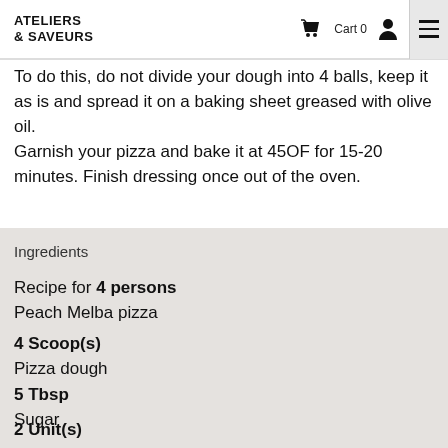ATELIERS & SAVEURS  Cart 0
To do this, do not divide your dough into 4 balls, keep it as is and spread it on a baking sheet greased with olive oil.
Garnish your pizza and bake it at 45OF for 15-20 minutes. Finish dressing once out of the oven.
Ingredients
Recipe for 4 persons
Peach Melba pizza
4 Scoop(s)
Pizza dough
5 Tbsp
Sugar
2 Unit(s)
Canned peaches in syrup